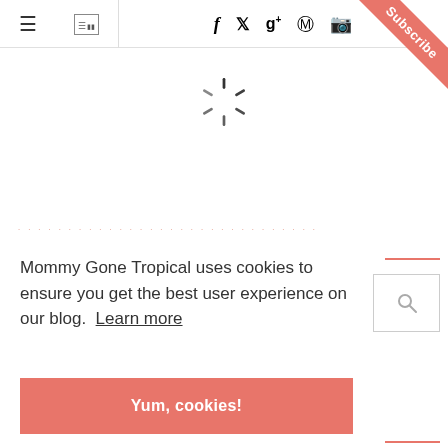≡  [newspaper icon]  f  t  g+  p  ig
[Figure (other): Subscribe corner ribbon in salmon/coral color with white text reading 'Subscribe']
[Figure (other): Loading spinner animation icon (sun-ray style circular spinner)]
· · · · · · · · · · · · · · · · · · · · · · · · · · ·  (faint pink breadcrumb/navigation text)
Mommy Gone Tropical uses cookies to ensure you get the best user experience on our blog.  Learn more
[Figure (other): Yum, cookies! button - salmon/coral colored button]
[Figure (other): Right sidebar with two short salmon horizontal lines and a search box with magnifying glass icon]